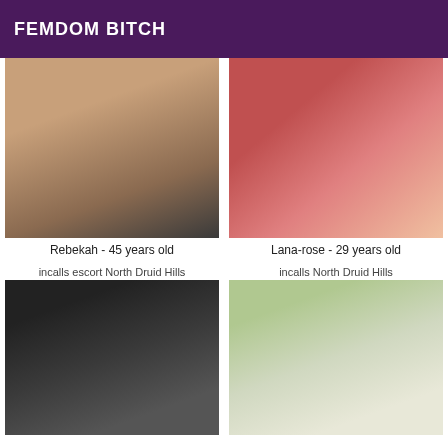FEMDOM BITCH
[Figure (photo): Close-up photo of a person, skin tones, warm lighting]
[Figure (photo): Person wearing red top, close-up selfie style photo]
Rebekah - 45 years old
Lana-rose - 29 years old
incalls escort North Druid Hills
incalls North Druid Hills
[Figure (photo): Person wearing black bra/lingerie top, midriff visible]
[Figure (photo): Dark-haired woman with bangs, smiling, outdoor background]